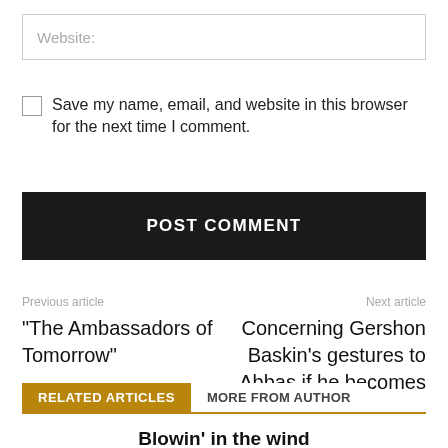Website:
Save my name, email, and website in this browser for the next time I comment.
POST COMMENT
Previous article
“The Ambassadors of Tomorrow”
Next article
Concerning Gershon Baskin’s gestures to Abbas if he becomes
RELATED ARTICLES
MORE FROM AUTHOR
Blowin’ in the wind